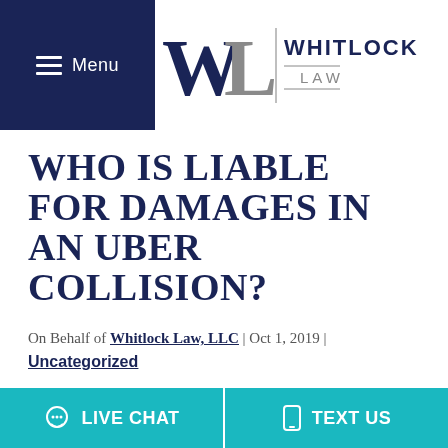Menu | Whitlock Law
WHO IS LIABLE FOR DAMAGES IN AN UBER COLLISION?
On Behalf of Whitlock Law, LLC | Oct 1, 2019 | Uncategorized
There is no question that Uber and Lyft ride-share arrangements have made it much easier for people to get where they need to go in the D.C. metro area. But